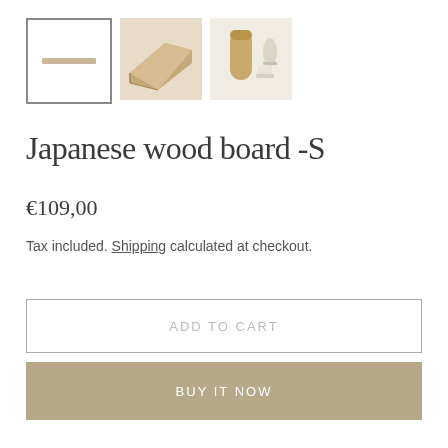[Figure (photo): Three product thumbnail images: first is selected with border showing a thin wooden shelf/board on white background, second shows the wooden board from an angle on a wooden surface, third shows the board styled with ceramic items]
Japanese wood board -S
€109,00
Tax included. Shipping calculated at checkout.
ADD TO CART
BUY IT NOW